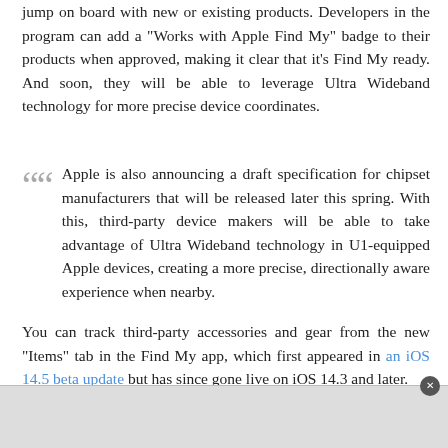jump on board with new or existing products. Developers in the program can add a "Works with Apple Find My" badge to their products when approved, making it clear that it's Find My ready. And soon, they will be able to leverage Ultra Wideband technology for more precise device coordinates.
Apple is also announcing a draft specification for chipset manufacturers that will be released later this spring. With this, third-party device makers will be able to take advantage of Ultra Wideband technology in U1-equipped Apple devices, creating a more precise, directionally aware experience when nearby.
You can track third-party accessories and gear from the new "Items" tab in the Find My app, which first appeared in an iOS 14.5 beta update but has since gone live on iOS 14.3 and later.